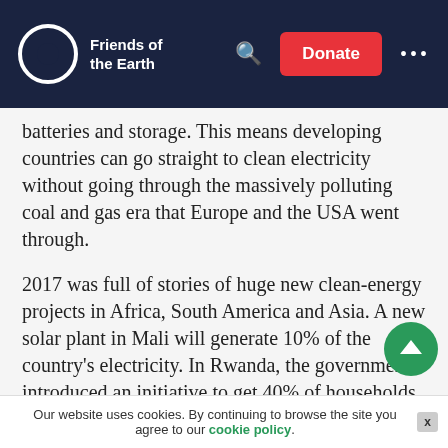Friends of the Earth
batteries and storage. This means developing countries can go straight to clean electricity without going through the massively polluting coal and gas era that Europe and the USA went through.
2017 was full of stories of huge new clean-energy projects in Africa, South America and Asia. A new solar plant in Mali will generate 10% of the country's electricity. In Rwanda, the government introduced an initiative to get 40% of households using off-grid solar. Ecuador agreed to build a US$60m electric bus factory. And the Philippines approved a 150MW solar project.
The cheeriest story was from Syria: power-cuts plus diesel shortages had meant that a hospital's old back-up batteries had run down. Now solar panels with batteries
Our website uses cookies. By continuing to browse the site you agree to our cookie policy.